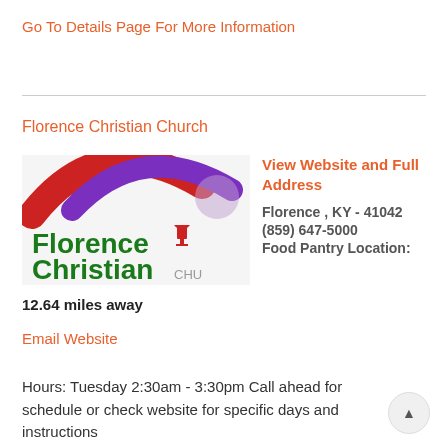Go To Details Page For More Information
[Figure (logo): Florence Christian Church logo with red and purple swoosh arcs and green text reading 'Florence Christian CHU']
View Website and Full Address
Florence , KY - 41042
(859) 647-5000
Food Pantry Location:
Florence Christian Church
12.64 miles away
Email Website
Hours: Tuesday 2:30am - 3:30pm Call ahead for schedule or check website for specific days and instructions